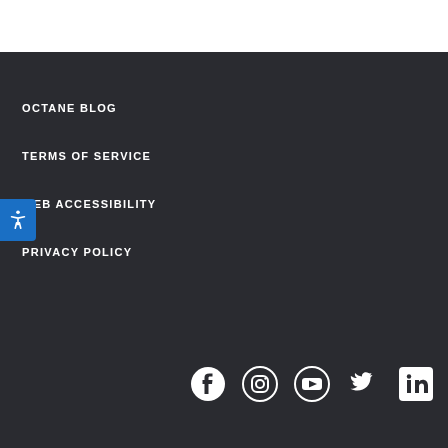OCTANE BLOG
TERMS OF SERVICE
WEB ACCESSIBILITY
PRIVACY POLICY
[Figure (infographic): Row of social media icons: Facebook, Instagram, YouTube, Twitter, LinkedIn — white icons on dark background]